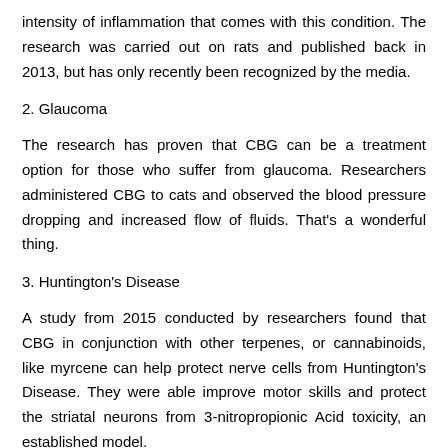intensity of inflammation that comes with this condition. The research was carried out on rats and published back in 2013, but has only recently been recognized by the media.
2. Glaucoma
The research has proven that CBG can be a treatment option for those who suffer from glaucoma. Researchers administered CBG to cats and observed the blood pressure dropping and increased flow of fluids. That's a wonderful thing.
3. Huntington's Disease
A study from 2015 conducted by researchers found that CBG in conjunction with other terpenes, or cannabinoids, like myrcene can help protect nerve cells from Huntington's Disease. They were able improve motor skills and protect the striatal neurons from 3-nitropropionic Acid toxicity, an established model.